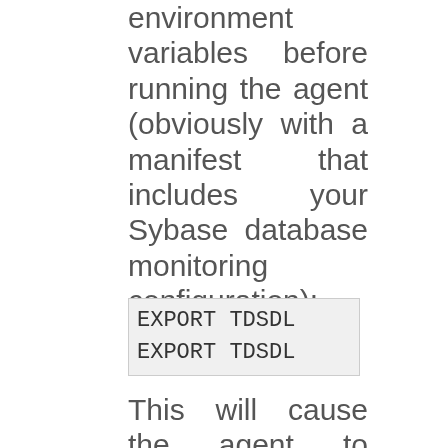environment variables before running the agent (obviously with a manifest that includes your Sybase database monitoring configuration):
EXPORT TDSDL
EXPORT TDSDL
This will cause the agent to dump configuration